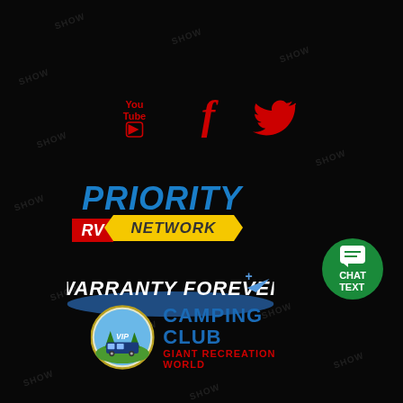[Figure (logo): Social media icons: YouTube, Facebook (f), Twitter bird — all in red on black background]
[Figure (logo): Priority RV Network logo — blue italic PRIORITY text, red RV box, yellow ribbon banner with NETWORK text]
[Figure (logo): Warranty Forever logo — italic white text with blue swoosh/ellipse graphic]
[Figure (logo): Green circular chat button with speech bubble icon, CHAT TEXT text in white]
[Figure (logo): VIP Camping Club Giant Recreation World logo — circular badge with RV scene, blue CAMPING CLUB text, red GIANT RECREATION WORLD text]